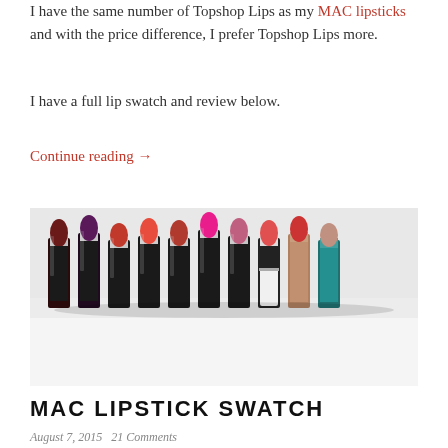I have the same number of Topshop Lips as my MAC lipsticks and with the price difference, I prefer Topshop Lips more.
I have a full lip swatch and review below.
Continue reading →
[Figure (photo): A row of lipsticks in various shades of red, pink, and burgundy arranged on a white surface, including MAC lipsticks and other brands.]
MAC LIPSTICK SWATCH
August 7, 2015   21 Comments